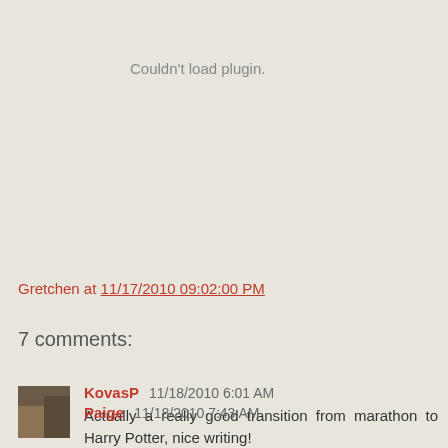Couldn't load plugin.
Gretchen at 11/17/2010 09:02:00 PM
7 comments:
KovasP  11/18/2010 6:01 AM
Actually a really good transition from marathon to Harry Potter, nice writing!
Reply
Paige  11/18/2010 7:43 AM